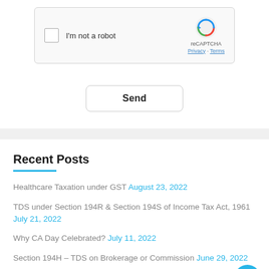[Figure (screenshot): reCAPTCHA widget with checkbox labeled I'm not a robot and reCAPTCHA logo with Privacy and Terms links]
Send
Recent Posts
Healthcare Taxation under GST August 23, 2022
TDS under Section 194R & Section 194S of Income Tax Act, 1961 July 21, 2022
Why CA Day Celebrated? July 11, 2022
Section 194H – TDS on Brokerage or Commission June 29, 2022
Overview of LLP Version 2 June 30, 2022